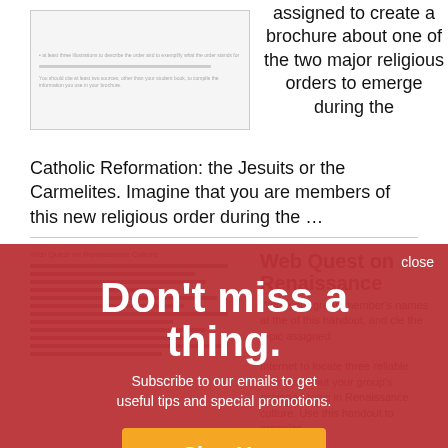[Figure (screenshot): Thumbnail preview of a document about religious orders brochure assignment]
assigned to create a brochure about one of the two major religious orders to emerge during the Catholic Reformation: the Jesuits or the Carmelites. Imagine that you are members of this new religious order during the …
Web Quest on Renaissance Culture
Web Quest on Renaissance
Write your group member's names at the of this handout, and cle the topic assigned
Internet to locate three reliable sources about your group's assigned topic in Renaissance culture. Use this handout to organize …
Don't miss a thing.
Subscribe to our emails to get useful tips and special promotions.
Sign Up
close